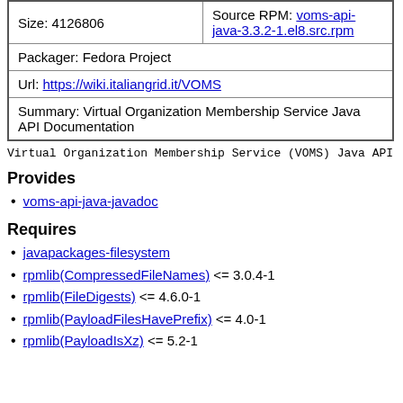| Size: 4126806 | Source RPM: voms-api-java-3.3.2-1.el8.src.rpm |
| Packager: Fedora Project |  |
| Url: https://wiki.italiangrid.it/VOMS |  |
| Summary: Virtual Organization Membership Service Java API Documentation |  |
Virtual Organization Membership Service (VOMS) Java API D
Provides
voms-api-java-javadoc
Requires
javapackages-filesystem
rpmlib(CompressedFileNames) <= 3.0.4-1
rpmlib(FileDigests) <= 4.6.0-1
rpmlib(PayloadFilesHavePrefix) <= 4.0-1
rpmlib(PayloadIsXz) <= 5.2-1